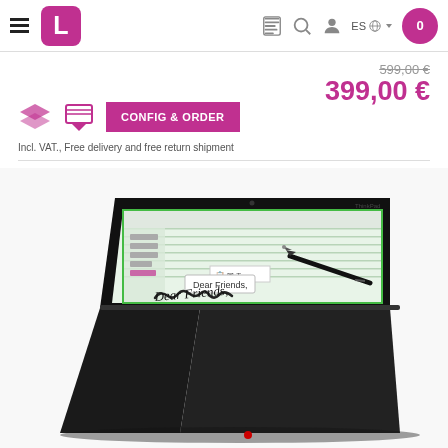[Figure (screenshot): Website navigation bar with hamburger menu, purple L logo, document icon, search icon, user icon, ES language selector, and purple cart icon with 0 items]
599,00 €
399,00 €
[Figure (illustration): Two pink/magenta stack/layer icons and a CONFIG & ORDER button in magenta]
Incl. VAT., Free delivery and free return shipment
[Figure (photo): Lenovo ThinkPad X1 Yoga laptop in tent/easel mode showing a stylus writing 'Dear Friends,' on screen with a note-taking application open]